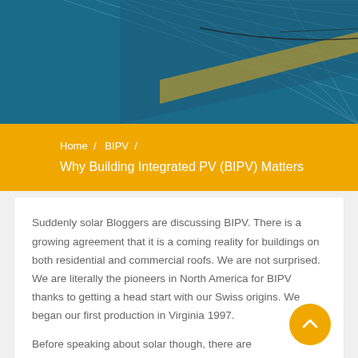[Figure (photo): Solar panel close-up hero image with blue and gold tones]
Home  /  BIPV  /  Why Building Integrated PV (BIPV) Matters
Suddenly solar Bloggers are discussing BIPV. There is a growing agreement that it is a coming reality for buildings on both residential and commercial roofs. We are not surprised. We are literally the pioneers in North America for BIPV thanks to getting a head start with our Swiss origins. We began our first production in Virginia 1997.
Before speaking about solar though, there are